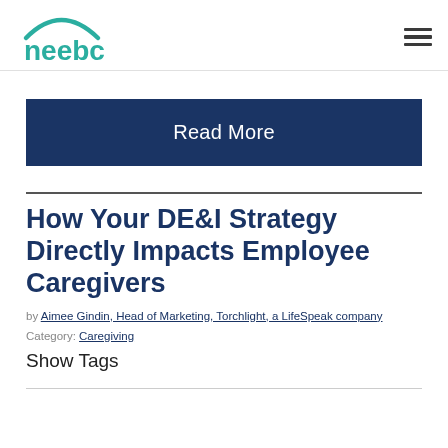neebc
Read More
How Your DE&I Strategy Directly Impacts Employee Caregivers
by Aimee Gindin, Head of Marketing, Torchlight, a LifeSpeak company
Category: Caregiving
Show Tags